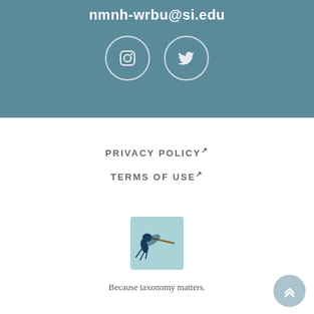nmnh-wrbu@si.edu
[Figure (illustration): Instagram and Twitter social media icons in white circles on teal background]
PRIVACY POLICY(link is external)
TERMS OF USE(link is external)
[Figure (logo): WRBU mosquito illustration logo on light blue background]
Because taxonomy matters.